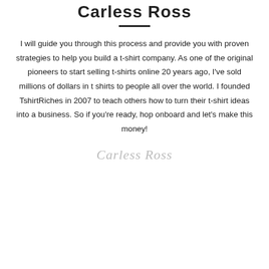Carless Ross
I will guide you through this process and provide you with proven strategies to help you build a t-shirt company. As one of the original pioneers to start selling t-shirts online 20 years ago, I've sold millions of dollars in t shirts to people all over the world. I founded TshirtRiches in 2007 to teach others how to turn their t-shirt ideas into a business. So if you're ready, hop onboard and let's make this money!
[Figure (illustration): Cursive signature reading 'Carless Ross' in light gray italic text]